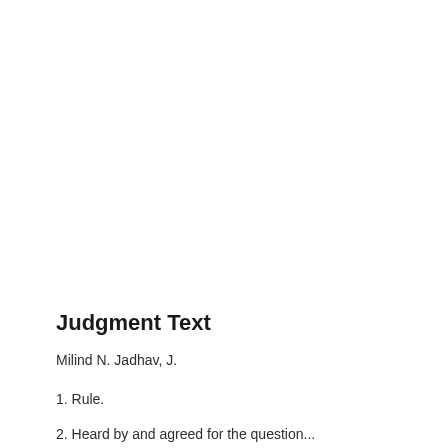Judgment Text
Milind N. Jadhav, J.
1. Rule.
2. Heard by and agreed for the question...